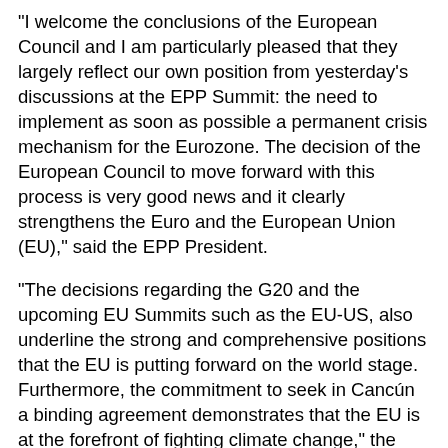"I welcome the conclusions of the European Council and I am particularly pleased that they largely reflect our own position from yesterday's discussions at the EPP Summit: the need to implement as soon as possible a permanent crisis mechanism for the Eurozone. The decision of the European Council to move forward with this process is very good news and it clearly strengthens the Euro and the European Union (EU)," said the EPP President.
"The decisions regarding the G20 and the upcoming EU Summits such as the EU-US, also underline the strong and comprehensive positions that the EU is putting forward on the world stage. Furthermore, the commitment to seek in Cancún a binding agreement demonstrates that the EU is at the forefront of fighting climate change," the EPP President added.
Yesterday's EPP Statutory Summit hosted Nicolas SARKOZY (France), Yves LETERME (Belgium), Viktor ORBAN (Hungary), Jean Claude JUNCKER (Luxembourg), Traian BASESCU (Romania), Fredrik REINFELDT (Sweden), Valdis DOMBROVSKIS (Latvia), Lawrence GONZI (Malta), Boyko BORISOV, (Bulgaria), Iveta RADICOVA (Slovakia), and the Presidents of the European Council, the European Commission, and the